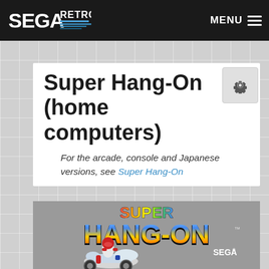SEGA RETRO | MENU
Super Hang-On (home computers)
For the arcade, console and Japanese versions, see Super Hang-On
[Figure (photo): Super Hang-On game box art showing colorful logo text and a motorcyclist leaning on a racing bike against a grey background with SEGA branding]